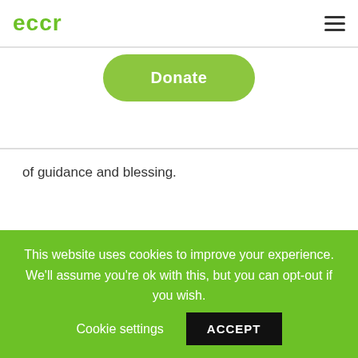eccr
[Figure (other): Donate button - rounded green pill-shaped button with white text reading 'Donate']
of guidance and blessing.
Share This Post:
[Figure (infographic): Share buttons: Facebook (dark blue with Facebook icon) and WhatsApp (green with WhatsApp icon)]
This website uses cookies to improve your experience. We'll assume you're ok with this, but you can opt-out if you wish. Cookie settings ACCEPT